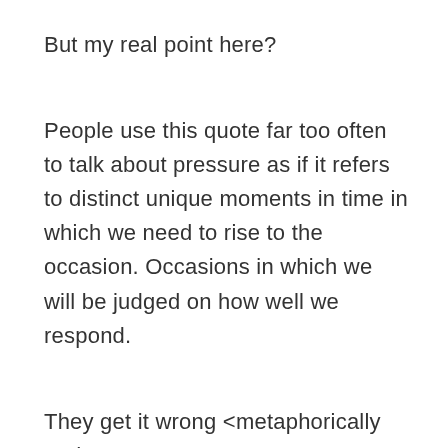But my real point here?
People use this quote far too often to talk about pressure as if it refers to distinct unique moments in time in which we need to rise to the occasion. Occasions in which we will be judged on how well we respond.
They get it wrong <metaphorically and